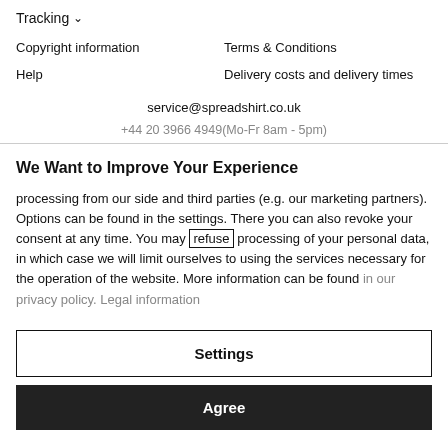Tracking ∨
Copyright information
Terms & Conditions
Help
Delivery costs and delivery times
service@spreadshirt.co.uk
+44 20 3966 4949(Mo-Fr 8am - 5pm)
We Want to Improve Your Experience
processing from our side and third parties (e.g. our marketing partners). Options can be found in the settings. There you can also revoke your consent at any time. You may refuse processing of your personal data, in which case we will limit ourselves to using the services necessary for the operation of the website. More information can be found in our privacy policy. Legal information
Settings
Agree